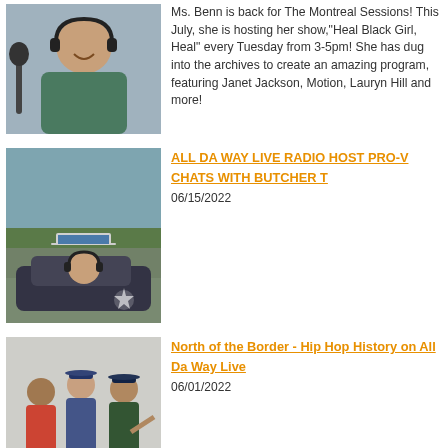[Figure (photo): Woman with headphones smiling at a radio station microphone setup]
Ms. Benn is back for The Montreal Sessions! This July, she is hosting her show,"Heal Black Girl, Heal" every Tuesday from 3-5pm! She has dug into the archives to create an amazing program, featuring Janet Jackson, Motion, Lauryn Hill and more!
[Figure (photo): Man with headphones sitting in a car with a laptop on the roof, landscape view in background]
ALL DA WAY LIVE RADIO HOST PRO-V CHATS WITH BUTCHER T
06/15/2022
[Figure (photo): Group of people posing indoors]
North of the Border - Hip Hop History on All Da Way Live
06/01/2022